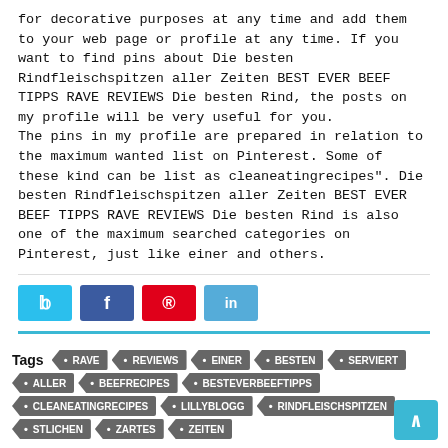for decorative purposes at any time and add them to your web page or profile at any time. If you want to find pins about Die besten Rindfleischspitzen aller Zeiten BEST EVER BEEF TIPPS RAVE REVIEWS Die besten Rind, the posts on my profile will be very useful for you.
The pins in my profile are prepared in relation to the maximum wanted list on Pinterest. Some of these kind can be list as cleaneatingrecipes". Die besten Rindfleischspitzen aller Zeiten BEST EVER BEEF TIPPS RAVE REVIEWS Die besten Rind is also one of the maximum searched categories on Pinterest, just like einer and others.
[Figure (other): Social sharing buttons: Twitter (blue), Facebook (dark blue), Pinterest (red), LinkedIn (light blue)]
Tags  RAVE  REVIEWS  EINER  BESTEN  SERVIERT  ALLER  BEEFRECIPES  BESTEVERBEEFTIPPS  CLEANEATINGRECIPES  LILLYBLOGG  RINDFLEISCHSPITZEN  STLICHEN  ZARTES  ZEITEN